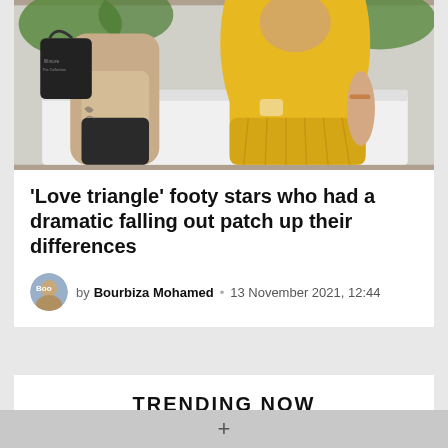[Figure (photo): Couple sitting together outdoors – man in beige shirt with tattoos, woman in yellow dress]
'Love triangle' footy stars who had a dramatic falling out patch up their differences
by Bourbiza Mohamed • 13 November 2021, 12:44
TRENDING NOW
1